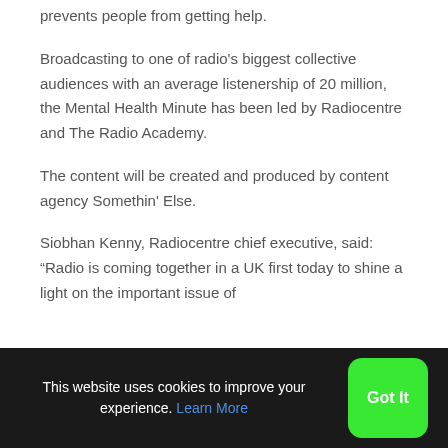prevents people from getting help.
Broadcasting to one of radio's biggest collective audiences with an average listenership of 20 million, the Mental Health Minute has been led by Radiocentre and The Radio Academy.
The content will be created and produced by content agency Somethin' Else.
Siobhan Kenny, Radiocentre chief executive, said: “Radio is coming together in a UK first today to shine a light on the important issue of
This website uses cookies to improve your experience. Learn More